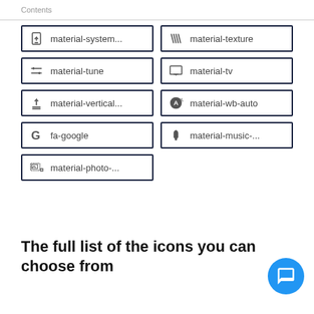Contents
[Figure (infographic): Grid of icon boxes showing material icons and Font Awesome icons with labels: material-system..., material-texture, material-tune, material-tv, material-vertical..., material-wb-auto, fa-google, material-music-..., material-photo-...]
The full list of the icons you can choose from